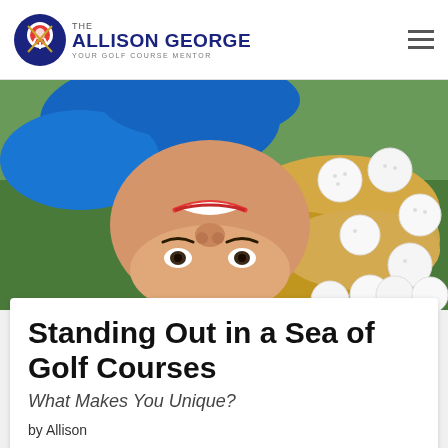THE Allison George — Your Golf Course Mentor
[Figure (photo): Woman lying upside-down on grass, smiling, with golf balls arranged in her blonde hair. She is wearing a blue outfit.]
Standing Out in a Sea of Golf Courses
What Makes You Unique?
by Allison
Share  Tweet  Email  Print